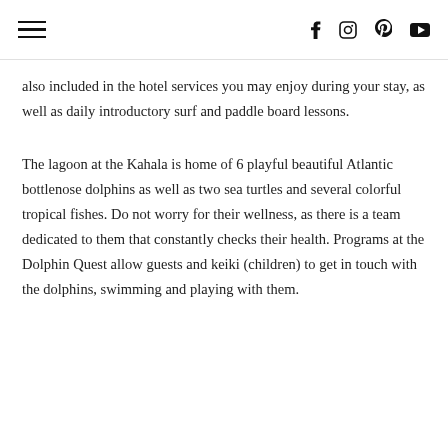hamburger menu | f instagram pinterest youtube
also included in the hotel services you may enjoy during your stay, as well as daily introductory surf and paddle board lessons.
The lagoon at the Kahala is home of 6 playful beautiful Atlantic bottlenose dolphins as well as two sea turtles and several colorful tropical fishes. Do not worry for their wellness, as there is a team dedicated to them that constantly checks their health. Programs at the Dolphin Quest allow guests and keiki (children) to get in touch with the dolphins, swimming and playing with them.